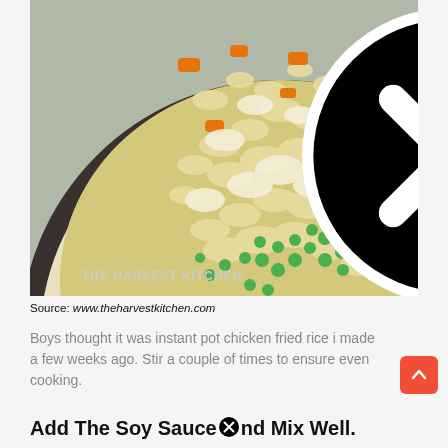[Figure (photo): Close-up photo of a plate of chicken fried rice with peas, carrots, and egg pieces, on a dark-rimmed white plate. Watermark text 'THE HARVEST KITCHEN' visible at bottom left of image. A close/X button overlay appears at the top center.]
Source: www.theharvestkitchen.com
Boys thought it was instant pot chicken fried rice i made a few weeks ago. Stir a couple of times to ensure even cooking.
Add The Soy Sauce and Mix Well.